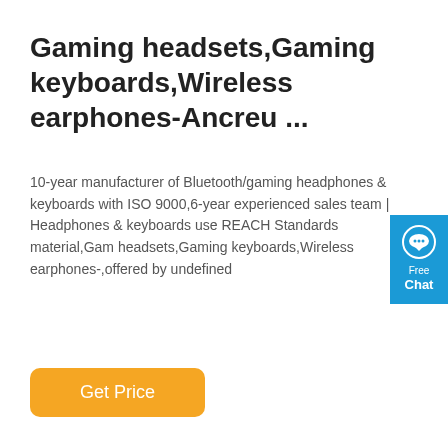Gaming headsets,Gaming keyboards,Wireless earphones-Ancreu ...
10-year manufacturer of Bluetooth/gaming headphones & keyboards with ISO 9000,6-year experienced sales team | Headphones & keyboards use REACH Standards material,Gaming headsets,Gaming keyboards,Wireless earphones-,offered by undefined
[Figure (other): Blue and black gaming headset showing headband arched shape with 'EXTREME DEFINITION' text in blue on the headband, partially cropped at the bottom of the page.]